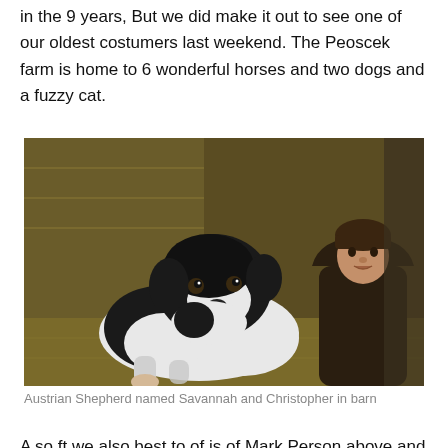in the 9 years, But we did make it out to see one of our oldest costumers last weekend. The Peoscek farm is home to 6 wonderful horses and two dogs and a fuzzy cat.
[Figure (photo): A black and white Australian Shepherd dog named Savannah lying on hay in a barn, next to a young boy named Christopher wearing a dark hooded jacket.]
Austrian Shepherd named Savannah and Christopher in barn
A so ft we also best to of is of Mark Person above and 15